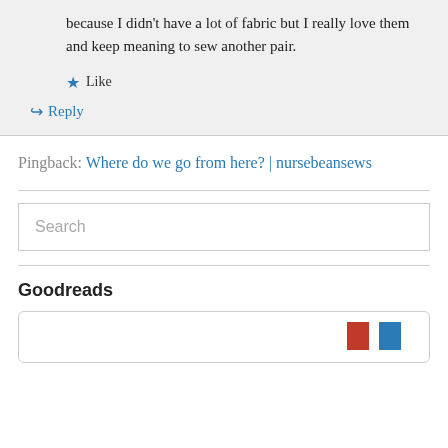because I didn't have a lot of fabric but I really love them and keep meaning to sew another pair.
★ Like
↳ Reply
Pingback: Where do we go from here? | nursebeansews
Search
Goodreads